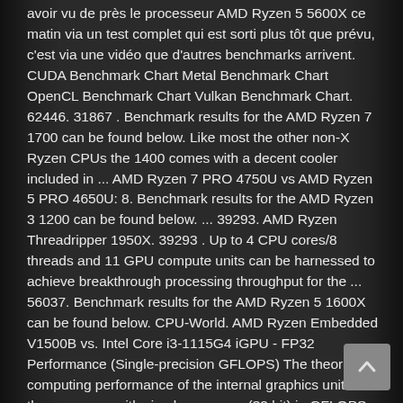avoir vu de près le processeur AMD Ryzen 5 5600X ce matin via un test complet qui est sorti plus tôt que prévu, c'est via une vidéo que d'autres benchmarks arrivent. CUDA Benchmark Chart Metal Benchmark Chart OpenCL Benchmark Chart Vulkan Benchmark Chart. 62446. 31867 . Benchmark results for the AMD Ryzen 7 1700 can be found below. Like most the other non-X Ryzen CPUs the 1400 comes with a decent cooler included in ... AMD Ryzen 7 PRO 4750U vs AMD Ryzen 5 PRO 4650U: 8. Benchmark results for the AMD Ryzen 3 1200 can be found below. ... 39293. AMD Ryzen Threadripper 1950X. 39293 . Up to 4 CPU cores/8 threads and 11 GPU compute units can be harnessed to achieve breakthrough processing throughput for the ... 56037. Benchmark results for the AMD Ryzen 5 1600X can be found below. CPU-World. AMD Ryzen Embedded V1500B vs. Intel Core i3-1115G4 iGPU - FP32 Performance (Single-precision GFLOPS) The theoretical computing performance of the internal graphics unit of the processor with simple accuracy (32 bit) in GFLOPS. See how it compares with other